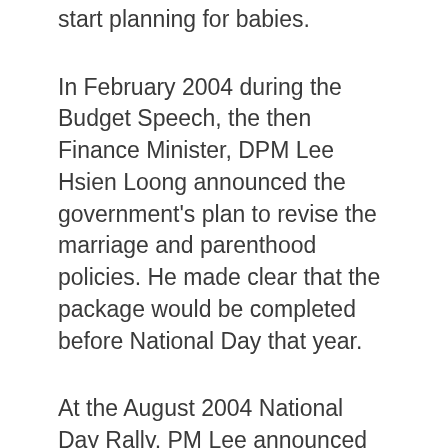start planning for babies.
In February 2004 during the Budget Speech, the then Finance Minister, DPM Lee Hsien Loong announced the government's plan to revise the marriage and parenthood policies. He made clear that the package would be completed before National Day that year.
At the August 2004 National Day Rally, PM Lee announced the new MPP. The effective date was set on 1 Aug 2004 because all administrative measures and adjustments to